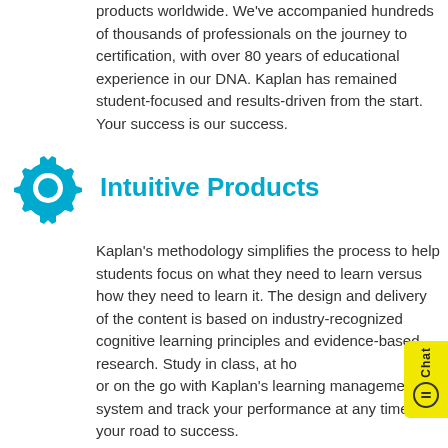products worldwide. We've accompanied hundreds of thousands of professionals on the journey to certification, with over 80 years of educational experience in our DNA. Kaplan has remained student-focused and results-driven from the start. Your success is our success.
[Figure (illustration): Blue gear/cog icon representing intuitive products]
Intuitive Products
Kaplan's methodology simplifies the process to help students focus on what they need to learn versus how they need to learn it. The design and delivery of the content is based on industry-recognized cognitive learning principles and evidence-based research. Study in class, at home, or on the go with Kaplan's learning management system and track your performance at any time on your road to success.